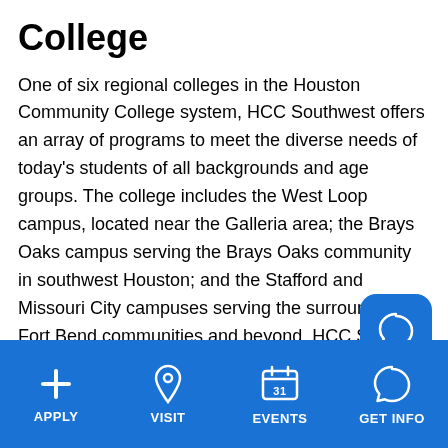College
One of six regional colleges in the Houston Community College system, HCC Southwest offers an array of programs to meet the diverse needs of today's students of all backgrounds and age groups. The college includes the West Loop campus, located near the Galleria area; the Brays Oaks campus serving the Brays Oaks community in southwest Houston; and the Stafford and Missouri City campuses serving the surrounding Fort Bend communities and beyond. HCC Stafford, the first permanent campus in HCC Southwest, opened in 1
APPLY  VISIT  EVENTS  GET INFO